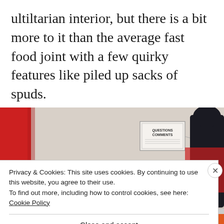ultiltarian interior, but there is a bit more to it than the average fast food joint with a few quirky features like piled up sacks of spuds.
[Figure (photo): Interior of a fast food restaurant with red walls. A sign reading 'QUESTIONS COMMENTS' is visible on the wall. A person in a dark jacket is seen from behind. Potato sacks are piled in the foreground.]
Privacy & Cookies: This site uses cookies. By continuing to use this website, you agree to their use.
To find out more, including how to control cookies, see here: Cookie Policy
Close and accept